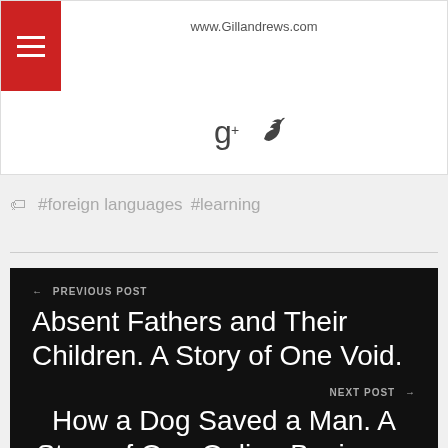www.Gillandrews.com
#foreign languages  #learning
← PREVIOUS POST
Absent Fathers and Their Children. A Story of One Void.
NEXT POST →
How a Dog Saved a Man. A Story of One Online Business.